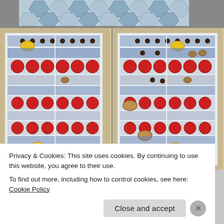[Figure (photo): Top portion: close-up of a hexagonal board game grid with blue, white hexagon pattern. Bottom: two side-by-side photos of a hexagonal board game in progress, showing red circles, blue hexagons, yellow pieces, and dark/tan wooden game pieces scattered on the board.]
Privacy & Cookies: This site uses cookies. By continuing to use this website, you agree to their use.
To find out more, including how to control cookies, see here: Cookie Policy
Close and accept